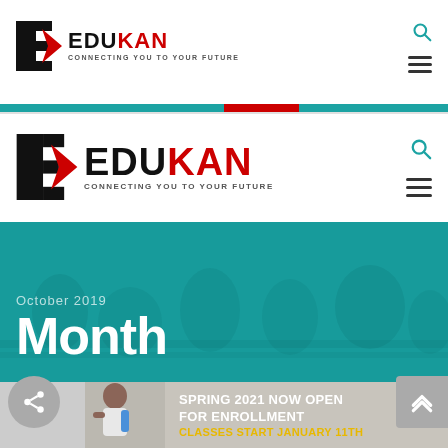[Figure (screenshot): EduKan website screenshot showing logo with 'CONNECTING YOU TO YOUR FUTURE' tagline, navigation with search and hamburger menu icons, a teal/red decorative bar, and a hero banner with students in background]
Month
October 2019
[Figure (photo): Promotional card showing a smiling student with backpack and earphones. Text: SPRING 2021 NOW OPEN FOR ENROLLMENT. CLASSES START JANUARY 11TH]